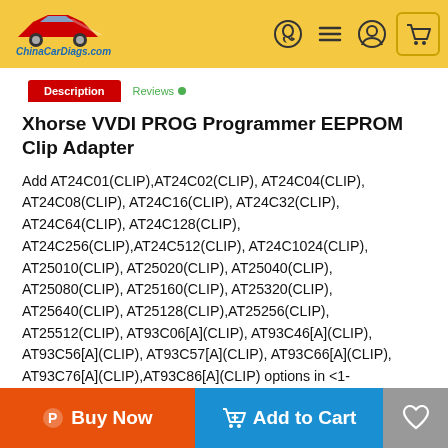ChinaCarDiags.com navigation bar with logo and icons
Xhorse VVDI PROG Programmer EEPROM Clip Adapter
Add AT24C01(CLIP),AT24C02(CLIP), AT24C04(CLIP), AT24C08(CLIP), AT24C16(CLIP), AT24C32(CLIP), AT24C64(CLIP), AT24C128(CLIP), AT24C256(CLIP),AT24C512(CLIP), AT24C1024(CLIP), AT25010(CLIP), AT25020(CLIP), AT25040(CLIP), AT25080(CLIP), AT25160(CLIP), AT25320(CLIP), AT25640(CLIP), AT25128(CLIP),AT25256(CLIP), AT25512(CLIP), AT93C06[A](CLIP), AT93C46[A](CLIP), AT93C56[A](CLIP), AT93C57[A](CLIP), AT93C66[A](CLIP), AT93C76[A](CLIP),AT93C86[A](CLIP) options in <1-EEPROM&FLASH>-> (Need EEPROM CLIP ADAPTER)
Buy Now | Add to Cart | Wishlist